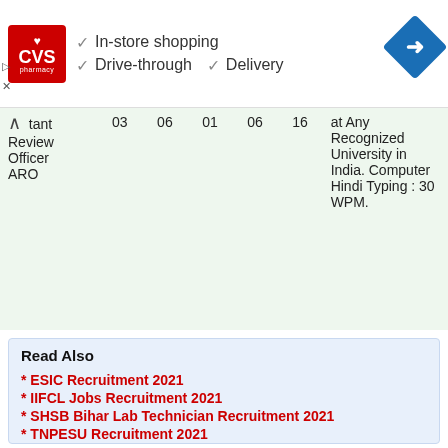[Figure (other): CVS Pharmacy advertisement banner showing checkmarks for In-store shopping, Drive-through, and Delivery with a navigation/directions arrow icon]
| Role | Col1 | Col2 | Col3 | Col4 | Col5 | Qualification |
| --- | --- | --- | --- | --- | --- | --- |
| …tant Review Officer ARO | 03 | 06 | 01 | 06 | 16 | at Any Recognized University in India. Computer Hindi Typing : 30 WPM. |
Read Also
* ESIC Recruitment 2021
* IIFCL Jobs Recruitment 2021
* SHSB Bihar Lab Technician Recruitment 2021
* TNPESU Recruitment 2021